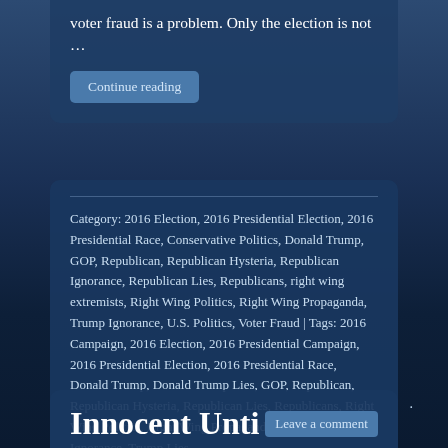voter fraud is a problem. Only the election is not …
Continue reading
Category: 2016 Election, 2016 Presidential Election, 2016 Presidential Race, Conservative Politics, Donald Trump, GOP, Republican, Republican Hysteria, Republican Ignorance, Republican Lies, Republicans, right wing extremists, Right Wing Politics, Right Wing Propaganda, Trump Ignorance, U.S. Politics, Voter Fraud | Tags: 2016 Campaign, 2016 Election, 2016 Presidential Campaign, 2016 Presidential Election, 2016 Presidential Race, Donald Trump, Donald Trump Lies, GOP, Republican, Republican Hysteria, Republican Lies, Republicans, Right Wing Politics, Right Wing Propaganda, right-wing, Trump Ignorance, Trump Lies
Innocent Until Leave a comment